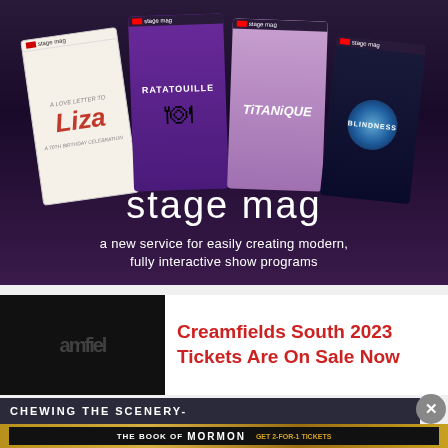[Figure (illustration): Stage Mag advertisement showing four show program covers (A Love Letter to Liza, Ratatouille, Titanique, Blindness) fanned out, with 'stage mag' logo and tagline 'a new service for easily creating modern, fully interactive show programs']
[Figure (logo): Creamfields logo in black box on left]
Creamfields South 2023 Tickets Are On Sale Now
CHEWING THE SCENERY-
[Figure (illustration): The Book of Mormon advertisement: GET 2-FOR-1 TICKETS DURING NYC BROADWAY WEEK • SEPTEMBER 6-25 USE CODE BWAYWK GET TICKETS]